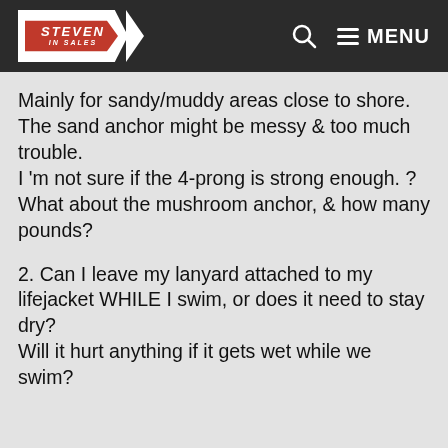Steven in Sales — MENU
Mainly for sandy/muddy areas close to shore.
The sand anchor might be messy & too much trouble.
I 'm not sure if the 4-prong is strong enough. ?
What about the mushroom anchor, & how many pounds?
2. Can I leave my lanyard attached to my lifejacket WHILE I swim, or does it need to stay dry?
Will it hurt anything if it gets wet while we swim?